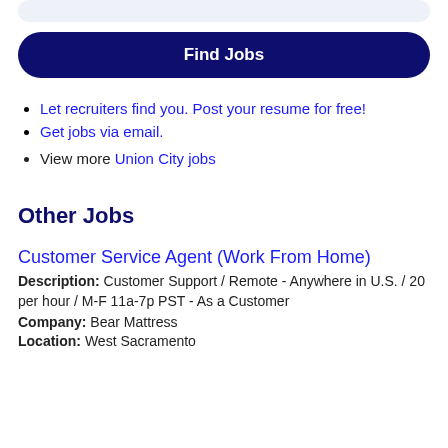[Figure (other): Light blue rounded search bar at top of page]
Find Jobs
Let recruiters find you. Post your resume for free!
Get jobs via email.
View more Union City jobs
Other Jobs
Customer Service Agent (Work From Home)
Description: Customer Support / Remote - Anywhere in U.S. / 20 per hour / M-F 11a-7p PST - As a Customer
Company: Bear Mattress
Location: West Sacramento